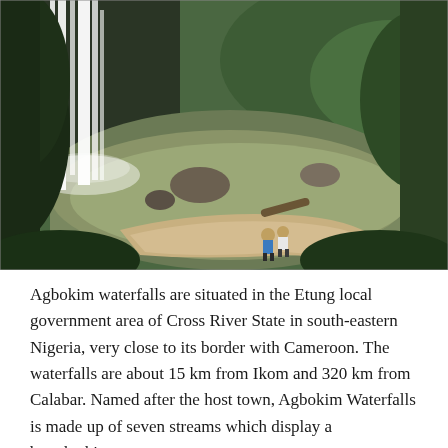[Figure (photo): Aerial/elevated view of Agbokim waterfalls with cascading white waterfalls on the left, a pool of brownish-green water below, large rocks, lush green vegetation on the sides, a sandy bank in the foreground with two people standing on it, and green hillside in the background.]
Agbokim waterfalls are situated in the Etung local government area of Cross River State in south-eastern Nigeria, very close to its border with Cameroon. The waterfalls are about 15 km from Ikom and 320 km from Calabar. Named after the host town, Agbokim Waterfalls is made up of seven streams which display a breathtaking